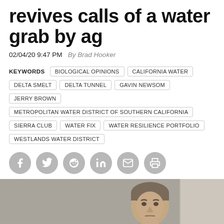revives calls of a water grab by ag
02/04/20 9:47 PM   By Brad Hooker
KEYWORDS  BIOLOGICAL OPINIONS  CALIFORNIA WATER  DELTA SMELT  DELTA TUNNEL  GAVIN NEWSOM  JERRY BROWN  METROPOLITAN WATER DISTRICT OF SOUTHERN CALIFORNIA  SIERRA CLUB  WATER FIX  WATER RESILIENCE PORTFOLIO  WESTLANDS WATER DISTRICT
[Figure (photo): Photo of a man in a suit sitting at what appears to be a hearing or meeting room, with a serious expression.]